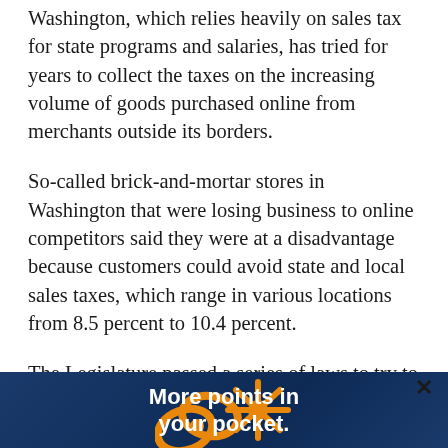Washington, which relies heavily on sales tax for state programs and salaries, has tried for years to collect the taxes on the increasing volume of goods purchased online from merchants outside its borders.
So-called brick-and-mortar stores in Washington that were losing business to online competitors said they were at a disadvantage because customers could avoid state and local sales taxes, which range in various locations from 8.5 percent to 10.4 percent.
The Legislature passed a series of laws to try to capture some of that money, including a provision in last year’s tax compromise bill. That law requires so-called remote sellers who have more than $10,000 in sales with Washington customers to do one of two things. They can either w[...] mer, which [...] ate; or
[Figure (other): Advertisement banner: dark blue background with orange decorative logo elements on left and right, bold white text reading 'More points in your pocket.' with a close (X) button in the upper right corner.]